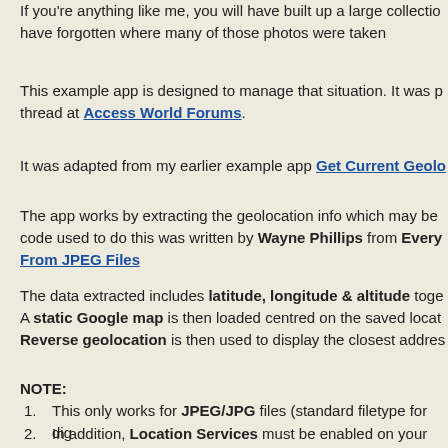If you're anything like me, you will have built up a large collection and have forgotten where many of those photos were taken
This example app is designed to manage that situation. It was posted in a thread at Access World Forums.
It was adapted from my earlier example app Get Current Geolocation
The app works by extracting the geolocation info which may be embedded. The code used to do this was written by Wayne Phillips from Every... From JPEG Files
The data extracted includes latitude, longitude & altitude together with... A static Google map is then loaded centred on the saved location. Reverse geolocation is then used to display the closest address.
NOTE:
1. This only works for JPEG/JPG files (standard filetype for dig...
2. In addition, Location Services must be enabled on your ph...
3. Many older cameras/phones may not include this information. A message is displayed to indicate when no geolocation data...